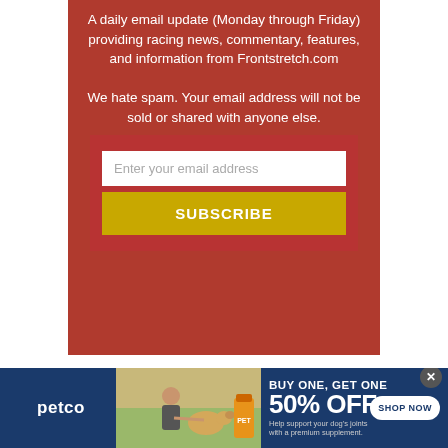A daily email update (Monday through Friday) providing racing news, commentary, features, and information from Frontstretch.com We hate spam. Your email address will not be sold or shared with anyone else.
Enter your email address
SUBSCRIBE
Share this article
[Figure (infographic): Petco advertisement banner: BUY ONE, GET ONE 50% OFF on dog joint supplements. Shows woman with golden retriever and supplement bottle. SHOP NOW button on right.]